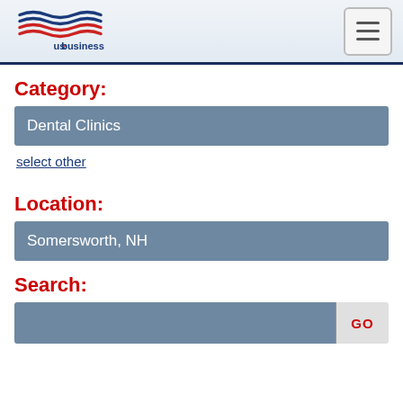us.business logo and navigation menu
Category:
Dental Clinics
select other
Location:
Somersworth, NH
Search:
GO